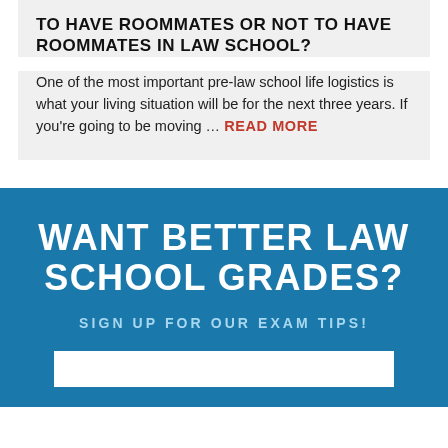TO HAVE ROOMMATES OR NOT TO HAVE ROOMMATES IN LAW SCHOOL?
One of the most important pre-law school life logistics is what your living situation will be for the next three years. If you're going to be moving … READ MORE
WANT BETTER LAW SCHOOL GRADES?
SIGN UP FOR OUR EXAM TIPS!